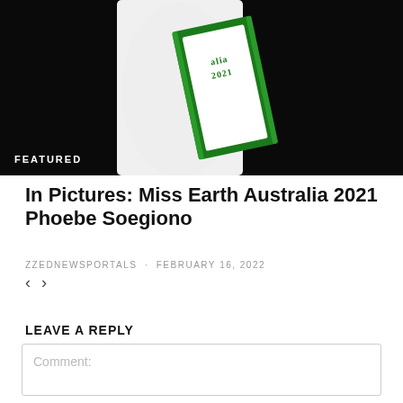[Figure (photo): Photo of a person wearing a white outfit and a green-bordered sash reading 'Australia 2021' against a black background, with a 'FEATURED' label overlay at the bottom left.]
In Pictures: Miss Earth Australia 2021 Phoebe Soegiono
ZZEDNEWSPORTALS · FEBRUARY 16, 2022
LEAVE A REPLY